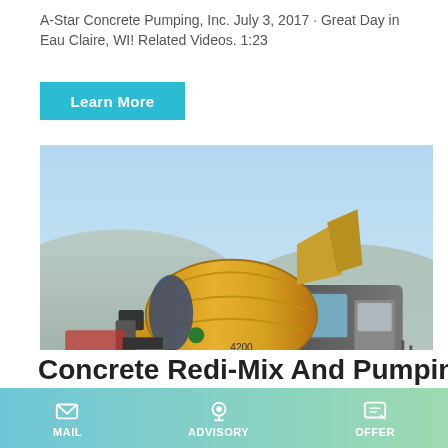A-Star Concrete Pumping, Inc. July 3, 2017 · Great Day in Eau Claire, WI! Related Videos. 1:23
Learn More
[Figure (photo): A yellow self-loading concrete mixer truck parked outdoors at a construction/quarry site with mountains in the background and blue sky.]
Concrete Redi-Mix And Pumping |
MAIL   ADVISORY   OFFER